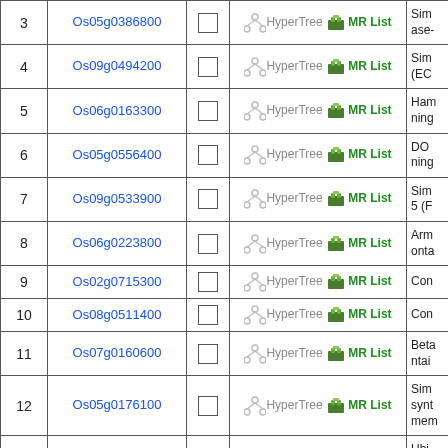| # | Gene ID |  | Links | Description |
| --- | --- | --- | --- | --- |
| 3 | Os05g0386800 |  | HyperTree  MR List | Sim ase- |
| 4 | Os09g0494200 |  | HyperTree  MR List | Sim (EC |
| 5 | Os06g0163300 |  | HyperTree  MR List | Han ning |
| 6 | Os05g0556400 |  | HyperTree  MR List | DO ning |
| 7 | Os09g0533900 |  | HyperTree  MR List | Sim 5 (F |
| 8 | Os06g0223800 |  | HyperTree  MR List | Arm onta |
| 9 | Os02g0715300 |  | HyperTree  MR List | Con |
| 10 | Os08g0511400 |  | HyperTree  MR List | Con |
| 11 | Os07g0160600 |  | HyperTree  MR List | Beta ntai |
| 12 | Os05g0176100 |  | HyperTree  MR List | Sim synt mem |
| 13 | Os06g0126500 |  | HyperTree  MR List | Ubi otei |